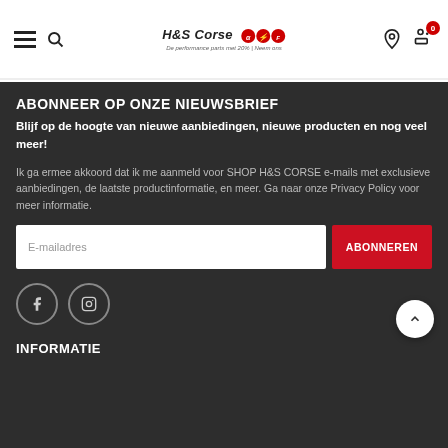H&S Corse — navigation header with hamburger menu, search, logo, account and cart icons
ABONNEER OP ONZE NIEUWSBRIEF
Blijf op de hoogte van nieuwe aanbiedingen, nieuwe producten en nog veel meer!
Ik ga ermee akkoord dat ik me aanmeld voor SHOP H&S CORSE e-mails met exclusieve aanbiedingen, de laatste productinformatie, en meer. Ga naar onze Privacy Policy voor meer informatie.
E-mailadres [input field] ABONNEREN [button]
[Figure (other): Social media icons: Facebook circle and Instagram circle]
INFORMATIE